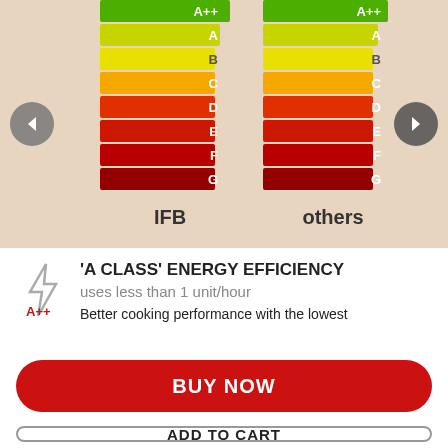[Figure (infographic): Energy efficiency rating comparison chart showing IFB vs others with color-coded letter ratings A++ through G, with navigation arrows on sides]
'A CLASS' ENERGY EFFICIENCY
uses less than 1 unit/hour
Better cooking performance with the lowest
BUY NOW
ADD TO CART
WHERE TO BUY